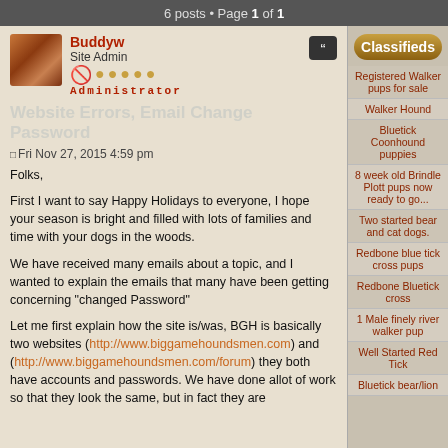6 posts • Page 1 of 1
Buddyw
Site Admin
Administrator
Website Errors, Email Change Password
Fri Nov 27, 2015 4:59 pm
Folks,

First I want to say Happy Holidays to everyone, I hope your season is bright and filled with lots of families and time with your dogs in the woods.

We have received many emails about a topic, and I wanted to explain the emails that many have been getting concerning "changed Password"

Let me first explain how the site is/was, BGH is basically two websites (http://www.biggamehoundsmen.com) and (http://www.biggamehoundsmen.com/forum) they both have accounts and passwords. We have done allot of work so that they look the same, but in fact they are
Registered Walker pups for sale
Walker Hound
Bluetick Coonhound puppies
8 week old Brindle Plott pups now ready to go...
Two started bear and cat dogs.
Redbone blue tick cross pups
Redbone Bluetick cross
1 Male finely river walker pup
Well Started Red Tick
Bluetick bear/lion